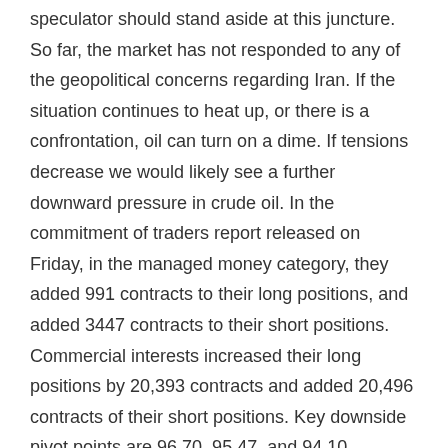speculator should stand aside at this juncture. So far, the market has not responded to any of the geopolitical concerns regarding Iran. If the situation continues to heat up, or there is a confrontation, oil can turn on a dime. If tensions decrease we would likely see a further downward pressure in crude oil. In the commitment of traders report released on Friday, in the managed money category, they added 991 contracts to their long positions, and added 3447 contracts to their short positions. Commercial interests increased their long positions by 20,393 contracts and added 20,496 contracts of their short positions. Key downside pivot points are 96.70, 95.47, and 94.10.
Gasoline:
For the week March gasoline closed 9/10 of a cent...